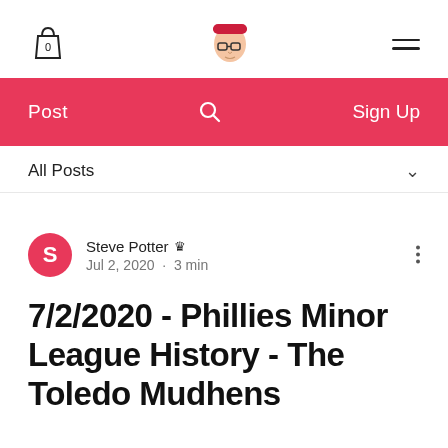Navigation bar with shopping bag (0), avatar logo, and hamburger menu
Post  🔍  Sign Up
All Posts
Steve Potter 👑
Jul 2, 2020 · 3 min
7/2/2020 - Phillies Minor League History - The Toledo Mudhens